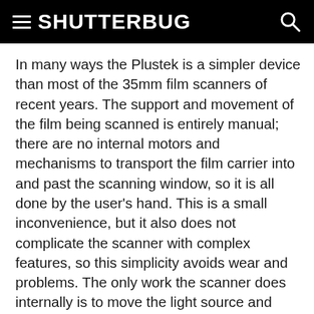SHUTTERBUG
In many ways the Plustek is a simpler device than most of the 35mm film scanners of recent years. The support and movement of the film being scanned is entirely manual; there are no internal motors and mechanisms to transport the film carrier into and past the scanning window, so it is all done by the user's hand. This is a small inconvenience, but it also does not complicate the scanner with complex features, so this simplicity avoids wear and problems. The only work the scanner does internally is to move the light source and linear array CCD from one side of the film image across it to the other to make each scan.